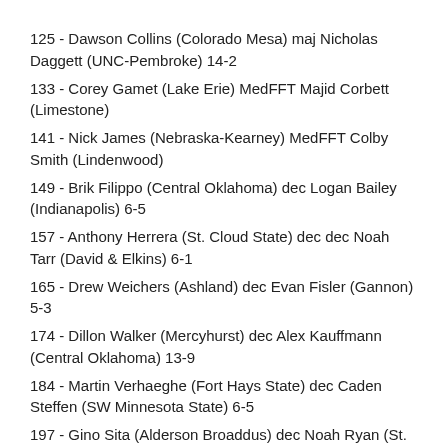125 - Dawson Collins (Colorado Mesa) maj Nicholas Daggett (UNC-Pembroke) 14-2
133 - Corey Gamet (Lake Erie) MedFFT Majid Corbett (Limestone)
141 - Nick James (Nebraska-Kearney) MedFFT Colby Smith (Lindenwood)
149 - Brik Filippo (Central Oklahoma) dec Logan Bailey (Indianapolis) 6-5
157 - Anthony Herrera (St. Cloud State) dec dec Noah Tarr (David & Elkins) 6-1
165 - Drew Weichers (Ashland) dec Evan Fisler (Gannon) 5-3
174 - Dillon Walker (Mercyhurst) dec Alex Kauffmann (Central Oklahoma) 13-9
184 - Martin Verhaeghe (Fort Hays State) dec Caden Steffen (SW Minnesota State) 6-5
197 - Gino Sita (Alderson Broaddus) dec Noah Ryan (St. Cloud State) 6-4SV
285 - Lee Herrington (Nebraska-Kearney) MedFFT Shawn Streck (Central Oklahoma)
Seventh Place Bouts